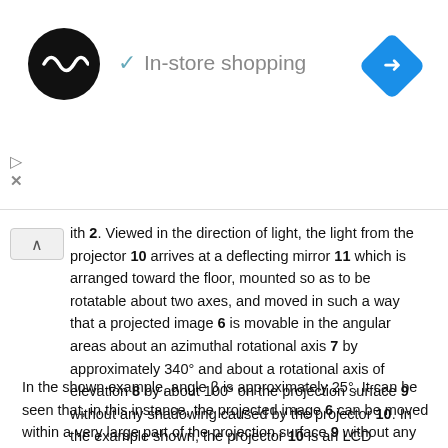[Figure (screenshot): Ad bar with logo circle, 'In-store shopping' label with checkmark, navigation diamond icon, play and close buttons]
ith 2. Viewed in the direction of light, the light from the projector 10 arrives at a deflecting mirror 11 which is arranged toward the floor, mounted so as to be rotatable about two axes, and moved in such a way that a projected image 6 is movable in the angular areas about an azimuthal rotational axis 7 by approximately 340° and about a rotational axis of elevation 8 by about 100° on the projection surface 9 without any shadowing caused by the projector 10. In the example shown, the projector 10 is an LCD projector.
In the shown example, angle β is approximately 25°. It can be seen that, in this instance, the projected image 6 can be moved within a very large part of the projection surface 9 without any shadowing. If the inclined position β of the principal projection axis 5 from the projector 10 exceeds the angle of approximately 60°, it is no longer possible in practice to move a projected image 6 in the dome area below the horizon 3. For one, a greater angle β requires a larger surface of the deflecting mirror 11, which has a disadvantageous effect on its movement dynamics. On the other hand, with very flat angles of incidence on the deflecting mirror 11, the projection ratios